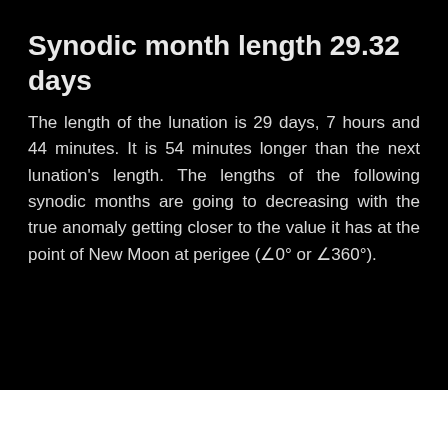Synodic month length 29.32 days
The length of the lunation is 29 days, 7 hours and 44 minutes. It is 54 minutes longer than the next lunation's length. The lengths of the following synodic months are going to decreasing with the true anomaly getting closer to the value it has at the point of New Moon at perigee (∠0° or ∠360°).